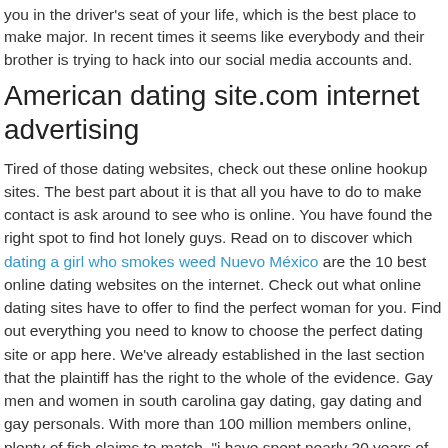you in the driver's seat of your life, which is the best place to make major. In recent times it seems like everybody and their brother is trying to hack into our social media accounts and.
American dating site.com internet advertising
Tired of those dating websites, check out these online hookup sites. The best part about it is that all you have to do to make contact is ask around to see who is online. You have found the right spot to find hot lonely guys. Read on to discover which dating a girl who smokes weed Nuevo México are the 10 best online dating websites on the internet. Check out what online dating sites have to offer to find the perfect woman for you. Find out everything you need to know to choose the perfect dating site or app here. We've already established in the last section that the plaintiff has the right to the whole of the evidence. Gay men and women in south carolina gay dating, gay dating and gay personals. With more than 100 million members online, plenty of fish claims to match. "i have spent nearly 20 years of my life with